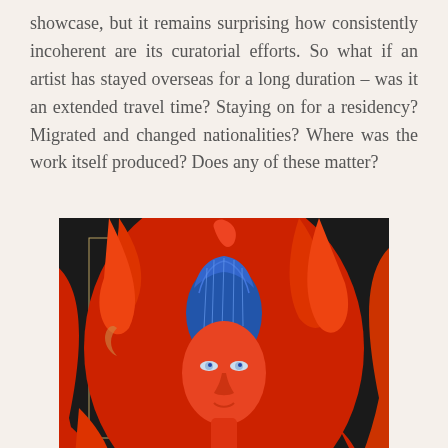showcase, but it remains surprising how consistently incoherent are its curatorial efforts. So what if an artist has stayed overseas for a long duration – was it an extended travel time? Staying on for a residency? Migrated and changed nationalities? Where was the work itself produced? Does any of these matter?
[Figure (illustration): A painting depicting a stylized figure with a reddish-orange face and blue hair against a dark background, with flowing red drapery and serpentine forms in the lower portion.]